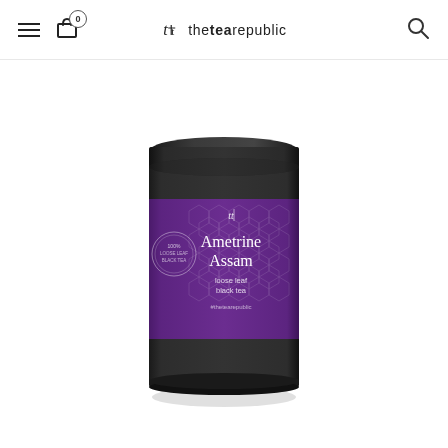ttr thetearepublic
[Figure (photo): A cylindrical black tin with a purple label featuring a geometric hexagon pattern. The label reads 'Ametrine Assam loose leaf black tea #thetearepublic' with the ttr logo. The bottom third of the tin has a gold/cream metallic band. The tin has a black lid.]